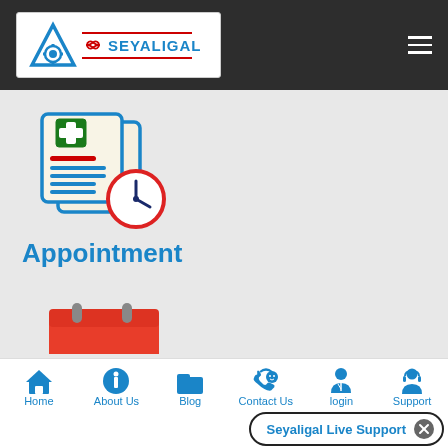[Figure (logo): Seyaligal logo with blue triangle/gear icon and infinity symbol on white background with red/blue text]
[Figure (illustration): Medical appointment icon: clipboard with medical cross and clock overlay, blue outline style]
Appointment
[Figure (illustration): Red calendar icon partially visible at bottom of main content]
[Figure (infographic): Bottom navigation bar with Home, About Us, Blog, Contact Us, login, Support icons in blue]
Seyaligal Live Support